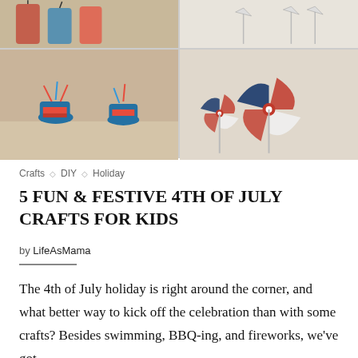[Figure (photo): Four-panel photo grid showing 4th of July crafts: top-left shows a close-up of a colorful craft, top-right shows white pinwheel/airplane decorations on sticks, bottom-left shows red/white/blue stacked cup rocket crafts on a kitchen counter, bottom-right shows patriotic pinwheel crafts in red, white, blue, and star-patterned paper.]
Crafts ◇ DIY ◇ Holiday
5 FUN & FESTIVE 4TH OF JULY CRAFTS FOR KIDS
by LifeAsMama
The 4th of July holiday is right around the corner, and what better way to kick off the celebration than with some crafts? Besides swimming, BBQ-ing, and fireworks, we've got